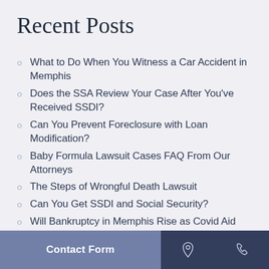Recent Posts
What to Do When You Witness a Car Accident in Memphis
Does the SSA Review Your Case After You've Received SSDI?
Can You Prevent Foreclosure with Loan Modification?
Baby Formula Lawsuit Cases FAQ From Our Attorneys
The Steps of Wrongful Death Lawsuit
Can You Get SSDI and Social Security?
Will Bankruptcy in Memphis Rise as Covid Aid Ends?
How to Choose a Personal Injury Lawyer in
Contact Form